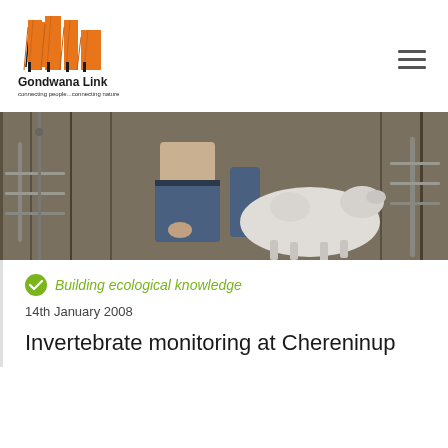[Figure (logo): Gondwana Link logo with orange tree/leaf shapes and text 'Gondwana Link — connecting people...connecting nature']
[Figure (photo): Photograph of a person in jeans handling or examining livestock (appears to be a goat or sheep) inside a farm shed or pen]
Building ecological knowledge
14th January 2008
Invertebrate monitoring at Chereninup